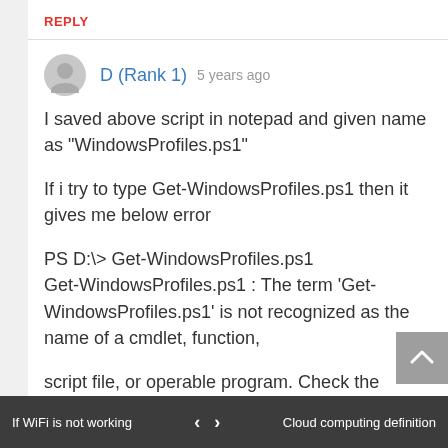REPLY
D (Rank 1) 5 years ago
I saved above script in notepad and given name as "WindowsProfiles.ps1"
If i try to type Get-WindowsProfiles.ps1 then it gives me below error
PS D:\> Get-WindowsProfiles.ps1
Get-WindowsProfiles.ps1 : The term 'Get-WindowsProfiles.ps1' is not recognized as the name of a cmdlet, function,
script file, or operable program. Check the spelling of the name, or if a path was included, verify that
If WiFi is not working   ‹  ›   Cloud computing definition